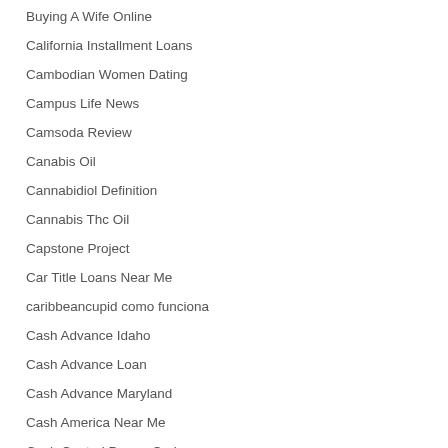Buying A Wife Online
California Installment Loans
Cambodian Women Dating
Campus Life News
Camsoda Review
Canabis Oil
Cannabidiol Definition
Cannabis Thc Oil
Capstone Project
Car Title Loans Near Me
caribbeancupid como funciona
Cash Advance Idaho
Cash Advance Loan
Cash Advance Maryland
Cash America Near Me
Cash Central Promo Code
Cash Loans